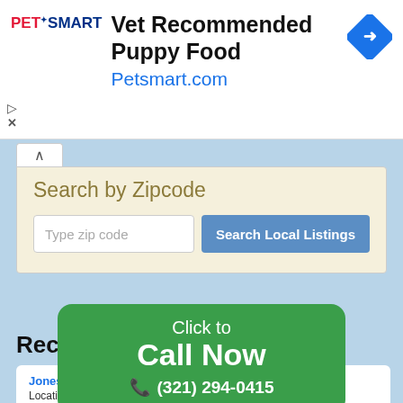[Figure (screenshot): PetSmart advertisement banner: logo on left, 'Vet Recommended Puppy Food' headline, 'Petsmart.com' URL in blue, blue diamond arrow icon on right]
Search by Zipcode
Type zip code
Search Local Listings
Recent Reviews
Jones M
Location
I called                                                                    eys on
a lock                                                                      s "so,
[Figure (infographic): Green rounded rectangle CTA overlay with text 'Click to Call Now' and phone number '(321) 294-0415' with phone icon]